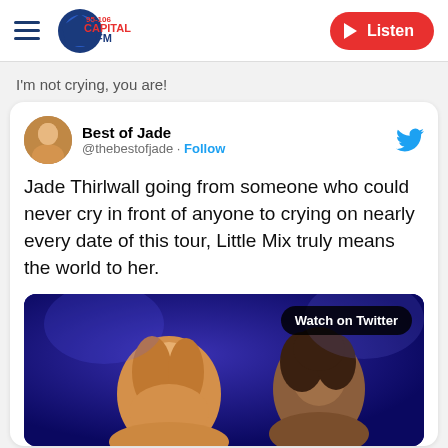95-106 Capital FM | Listen
I'm not crying, you are!
[Figure (screenshot): Embedded tweet from @thebestofjade reading: 'Jade Thirlwall going from someone who could never cry in front of anyone to crying on nearly every date of this tour, Little Mix truly means the world to her.' with a video thumbnail showing two women performing on a blue-lit stage, and a 'Watch on Twitter' badge.]